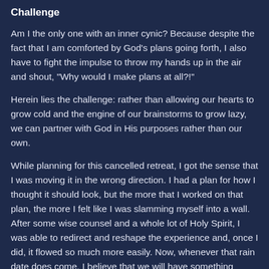Challenge
Am I the only one with an inner cynic? Because despite the fact that I am comforted by God's plans going forth, I also have to fight the impulse to throw my hands up in the air and shout, "Why would I make plans at all?!"
Herein lies the challenge: rather than allowing our hearts to grow cold and the engine of our brainstorms to grow lazy, we can partner with God in His purposes rather than our own.
While planning for this cancelled retreat, I got the sense that I was moving it in the wrong direction. I had a plan for how I thought it should look, but the more that I worked on that plan, the more I felt like I was slamming myself into a wall. After some wise counsel and a whole lot of Holy Spirit, I was able to redirect and reshape the experience and, once I did, it flowed so much more easily. Now, whenever that rain date does come, I believe that we will have something beautiful on our hands, through which God can and will work.
In short, I don't think the point of the matter is to not plan and